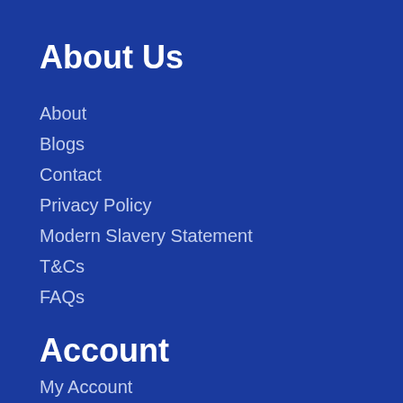About Us
About
Blogs
Contact
Privacy Policy
Modern Slavery Statement
T&Cs
FAQs
Account
My Account
Wishlist
Basket
Checkout